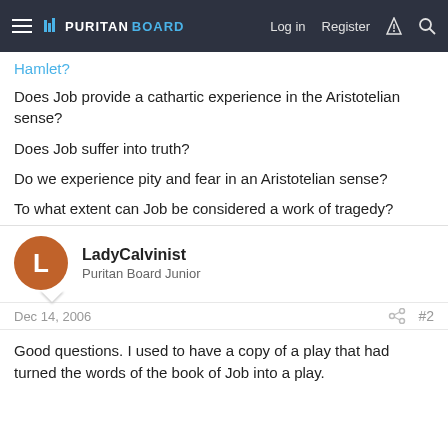PURITANBOARD — Log in | Register
Hamlet?
Does Job provide a cathartic experience in the Aristotelian sense?
Does Job suffer into truth?
Do we experience pity and fear in an Aristotelian sense?
To what extent can Job be considered a work of tragedy?
LadyCalvinist
Puritan Board Junior
Dec 14, 2006   #2
Good questions. I used to have a copy of a play that had turned the words of the book of Job into a play.